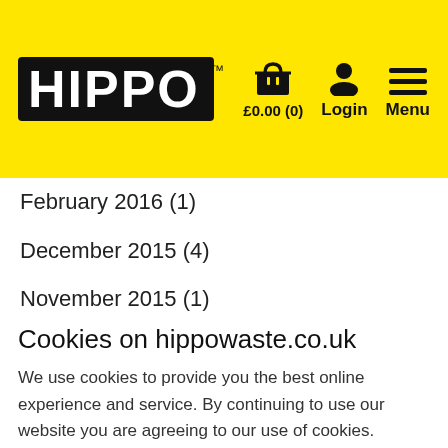HIPPO™ | £0.00 (0) Login Menu
February 2016 (1)
December 2015 (4)
November 2015 (1)
September 2015 (7)
August 2015 (11)
July 2015 (11)
Cookies on hippowaste.co.uk
We use cookies to provide you the best online experience and service. By continuing to use our website you are agreeing to our use of cookies.
Continue | Find out more >